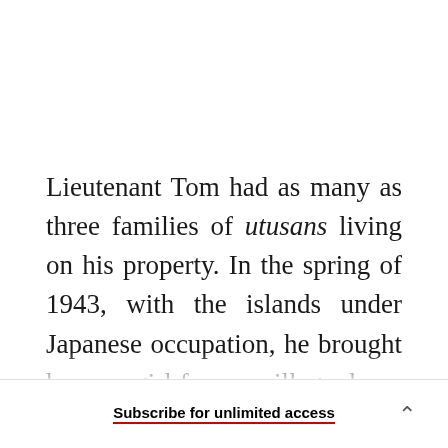Lieutenant Tom had as many as three families of utusans living on his property. In the spring of 1943, with the islands under Japanese occupation, he brought home a girl from a village down the road. She was a cousin from a marginal side of the family, rice farmers. The lieutenant was shrewd—he saw that this girl was penniless, unschooled, and
Subscribe for unlimited access